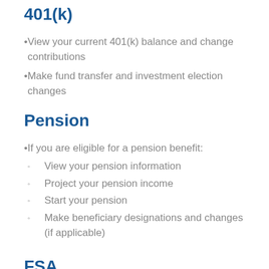401(k)
View your current 401(k) balance and change contributions
Make fund transfer and investment election changes
Pension
If you are eligible for a pension benefit:
View your pension information
Project your pension income
Start your pension
Make beneficiary designations and changes (if applicable)
FSA